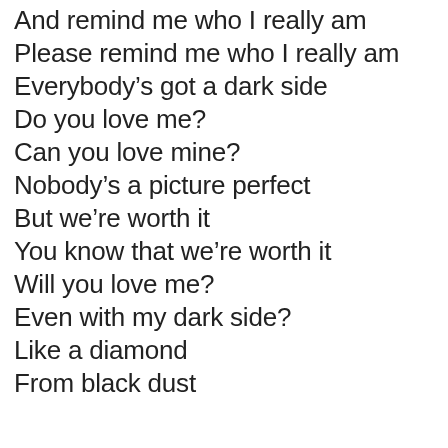And remind me who I really am
Please remind me who I really am
Everybody's got a dark side
Do you love me?
Can you love mine?
Nobody's a picture perfect
But we're worth it
You know that we're worth it
Will you love me?
Even with my dark side?
Like a diamond
From black dust